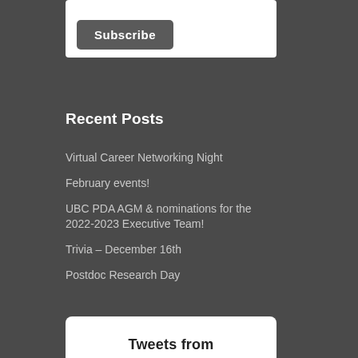Subscribe
Recent Posts
Virtual Career Networking Night
February events!
UBC PDA AGM & nominations for the 2022-2023 Executive Team!
Trivia – December 16th
Postdoc Research Day
Tweets from